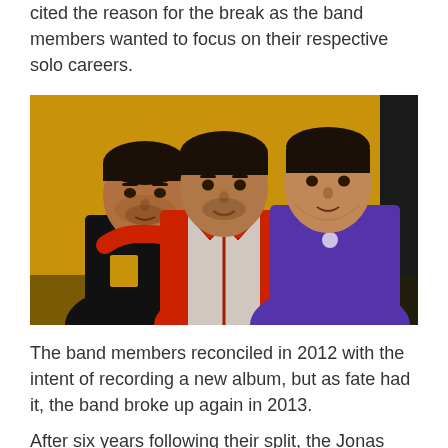cited the reason for the break as the band members wanted to focus on their respective solo careers.
[Figure (photo): Three young men posing together in front of a golden/yellow background. The man on the left wears a black t-shirt with a yellow graphic, the man in the middle wears a red jacket over a light shirt, and the man on the right wears a purple/blue shirt. They are posing close together with arms around each other.]
The band members reconciled in 2012 with the intent of recording a new album, but as fate had it, the band broke up again in 2013.
After six years following their split, the Jonas Brothers